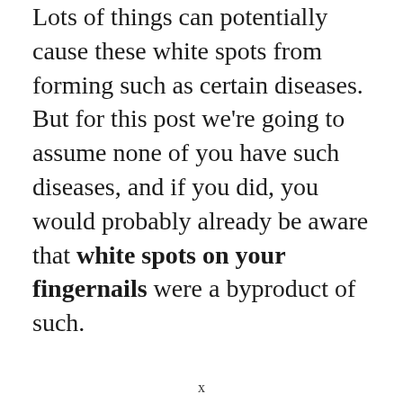Lots of things can potentially cause these white spots from forming such as certain diseases. But for this post we're going to assume none of you have such diseases, and if you did, you would probably already be aware that white spots on your fingernails were a byproduct of such.
x